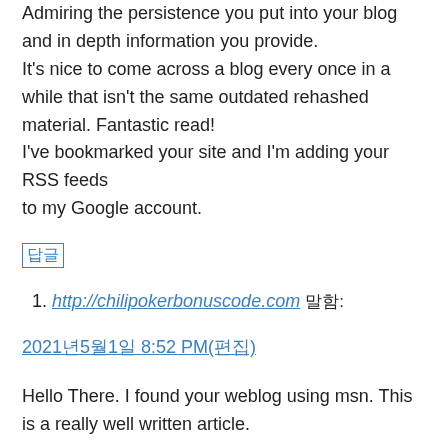Admiring the persistence you put into your blog and in depth information you provide.
It's nice to come across a blog every once in a while that isn't the same outdated rehashed material. Fantastic read!
I've bookmarked your site and I'm adding your RSS feeds
to my Google account.
답글
http://chilipokerbonuscode.com 말함:
2021년5월1일 8:52 PM(편집)
Hello There. I found your weblog using msn. This is a really well written article.